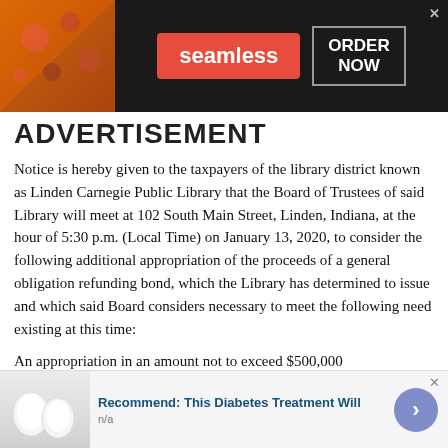[Figure (screenshot): Seamless food delivery advertisement banner with pizza image, Seamless logo in red, and ORDER NOW button]
ADVERTISEMENT (partial heading text visible)
Notice is hereby given to the taxpayers of the library district known as Linden Carnegie Public Library that the Board of Trustees of said Library will meet at 102 South Main Street, Linden, Indiana, at the hour of 5:30 p.m. (Local Time) on January 13, 2020, to consider the following additional appropriation of the proceeds of a general obligation refunding bond, which the Library has determined to issue and which said Board considers necessary to meet the following need existing at this time:
An appropriation in an amount not to exceed $500,000
[Figure (screenshot): Bottom advertisement: Recommend: This Diabetes Treatment Will, n/a, with egg image and arrow button]